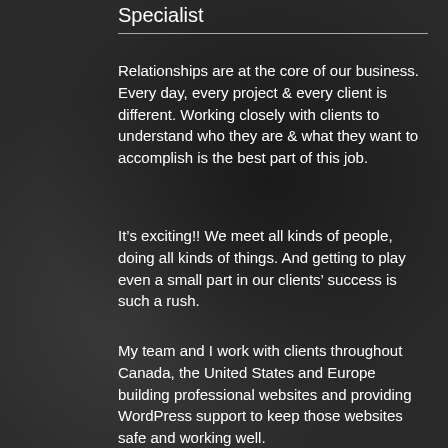Specialist
Relationships are at the core of our business. Every day, every project & every client is different. Working closely with clients to understand who they are & what they want to accomplish is the best part of this job.
It's exciting!! We meet all kinds of people, doing all kinds of things. And getting to play even a small part in our clients' success is such a rush.
My team and I work with clients throughout Canada, the United States and Europe building professional websites and providing WordPress support to keep those websites safe and working well.